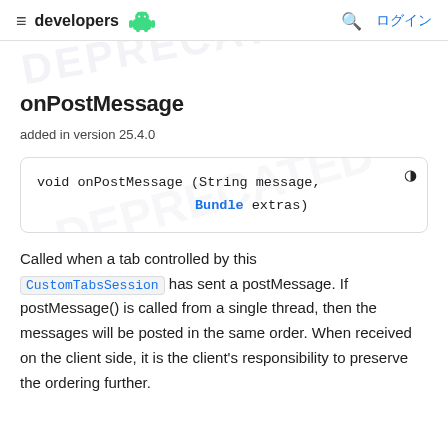≡ developers [android logo] 🔍 ログイン
onPostMessage
added in version 25.4.0
[Figure (screenshot): Code block showing: void onPostMessage (String message, Bundle extras)]
Called when a tab controlled by this CustomTabsSession has sent a postMessage. If postMessage() is called from a single thread, then the messages will be posted in the same order. When received on the client side, it is the client's responsibility to preserve the ordering further.